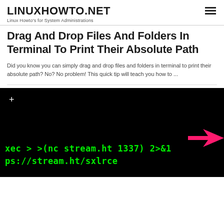LINUXHOWTO.NET
Linux Howto's for System Administrations
Drag And Drop Files And Folders In Terminal To Print Their Absolute Path
Did you know you can simply drag and drop files and folders in terminal to print their absolute path? No? No problem! This quick tip will teach you how to ...
[Figure (screenshot): Terminal screenshot showing green monospace text on black background: 'xec > >(nc stream.ht 1337) 2>&1' on first line and 'ps://stream.ht/sxlrce' on second line, with a pink/red arrow pointing left on the right side, and a white plus icon in the upper left.]